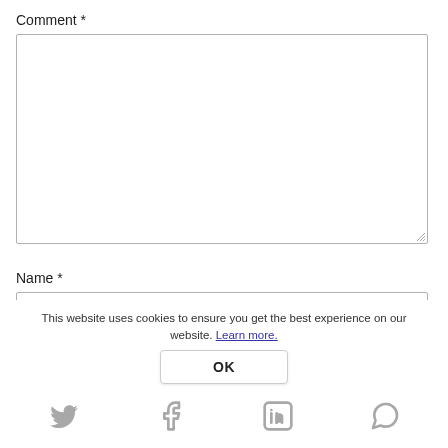Comment *
[Figure (screenshot): Empty textarea input box for comment field]
Name *
[Figure (screenshot): Empty text input box for name field]
Email *
[Figure (screenshot): Partially visible empty text input box for email field]
This website uses cookies to ensure you get the best experience on our website. Learn more.
OK
[Figure (screenshot): Social media icons row: Twitter, Facebook, LinkedIn, WhatsApp]